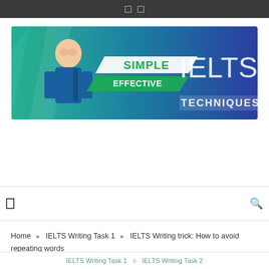Simple Effective IELTS Techniques — website header banner
[Figure (illustration): Website banner for IELTS preparation site with a young man in blue, text reading SIMPLE, EFFECTIVE, IELTS TECHNIQUES on a teal-to-blue gradient background]
Home › IELTS Writing Task 1 › IELTS Writing trick: How to avoid repeating words
IELTS Writing Task 1  ◇  IELTS Writing Task 2